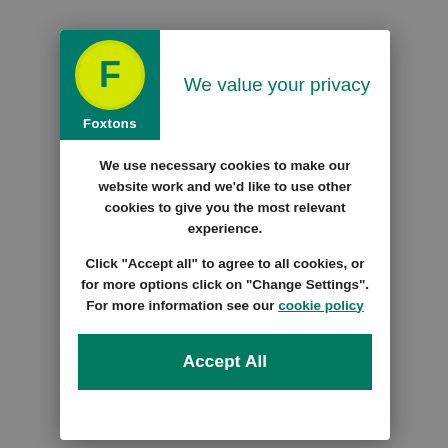[Figure (logo): Foxtons logo: dark green background with yellow circle containing white F, and Foxtons text below in white]
We value your privacy
We use necessary cookies to make our website work and we'd like to use other cookies to give you the most relevant experience.
Click “Accept all” to agree to all cookies, or for more options click on “Change Settings”. For more information see our cookie policy